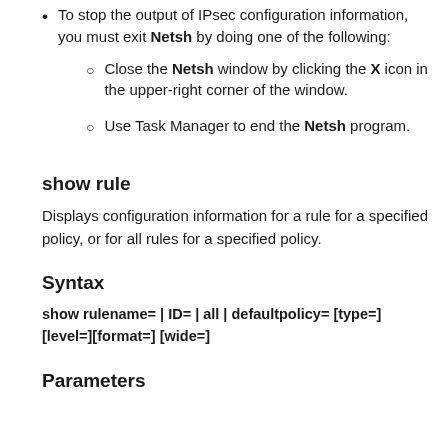To stop the output of IPsec configuration information, you must exit Netsh by doing one of the following:
Close the Netsh window by clicking the X icon in the upper-right corner of the window.
Use Task Manager to end the Netsh program.
show rule
Displays configuration information for a rule for a specified policy, or for all rules for a specified policy.
Syntax
show rulename= | ID= | all | defaultpolicy= [type=] [level=][format=] [wide=]
Parameters